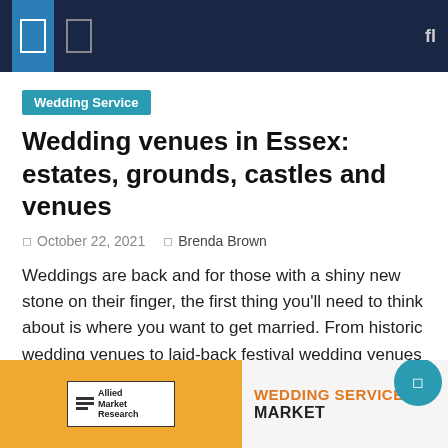Navigation bar with icons and search
Wedding Service
Wedding venues in Essex: estates, grounds, castles and venues
October 22, 2021  Brenda Brown
Weddings are back and for those with a shiny new stone on their finger, the first thing you'll need to think about is where you want to get married. From historic wedding venues to laid-back festival wedding venues in Essex, there is something for every couple in the county. Here are our top picks, writes [...]
[Figure (other): Advertisement banner for Allied Market Research showing Wedding Services Market report, with orange and grey sections]